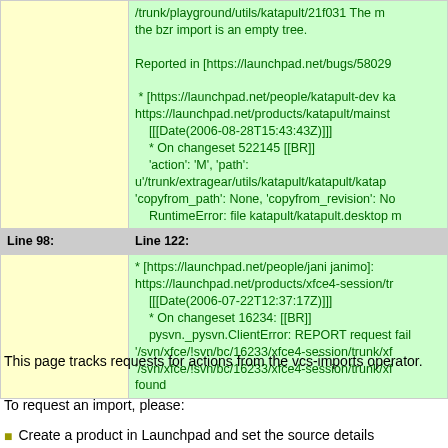| Line 98: | Line 122: |
| --- | --- |
|  | /trunk/playground/utils/katapult/21f031 The import is an empty tree.

Reported in [https://launchpad.net/bugs/58029

 * [https://launchpad.net/people/katapult-dev ka https://launchpad.net/products/katapult/mainst [[[Date(2006-08-28T15:43:43Z)]]]
    * On changeset 522145 [[BR]]
    'action': 'M', 'path': u'/trunk/extragear/utils/katapult/katapult/katap 'copyfrom_path': None, 'copyfrom_revision': No RuntimeError: file katapult/katapult.desktop m |
|  | * [https://launchpad.net/people/jani janimo]: https://launchpad.net/products/xfce4-session/tr [[[Date(2006-07-22T12:37:17Z)]]]
    * On changeset 16234: [[BR]]
    pysvn._pysvn.ClientError: REPORT request fail '/svn/xfce/!svn/bc/16233/xfce4-session/trunk/xf '/svn/xfce/!svn/bc/16233/xfce4-session/trunk/xf found |
This page tracks requests for actions from the vcs-imports operator.
To request an import, please:
Create a product in Launchpad and set the source details